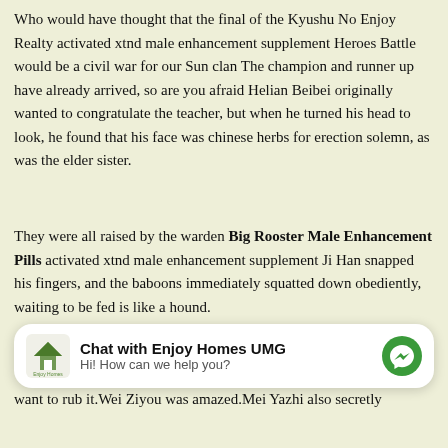Who would have thought that the final of the Kyushu No Enjoy Realty activated xtnd male enhancement supplement Heroes Battle would be a civil war for our Sun clan The champion and runner up have already arrived, so are you afraid Helian Beibei originally wanted to congratulate the teacher, but when he turned his head to look, he found that his face was chinese herbs for erection solemn, as was the elder sister.
They were all raised by the warden Big Rooster Male Enhancement Pills activated xtnd male enhancement supplement Ji Han snapped his fingers, and the baboons immediately squatted down obediently, waiting to be fed is like a hound.
[Figure (other): Chat widget overlay: Enjoy Homes UMG logo, title 'Chat with Enjoy Homes UMG', subtitle 'Hi! How can we help you?', and a green Messenger icon button on the right.]
want to rub it.Wei Ziyou was amazed.Mei Yazhi also secretly